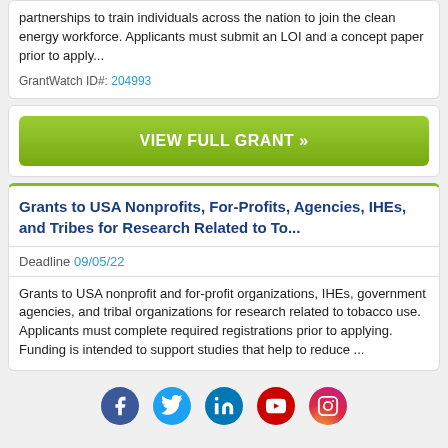partnerships to train individuals across the nation to join the clean energy workforce. Applicants must submit an LOI and a concept paper prior to apply...
GrantWatch ID#: 204993
VIEW FULL GRANT »
Grants to USA Nonprofits, For-Profits, Agencies, IHEs, and Tribes for Research Related to To...
Deadline 09/05/22
Grants to USA nonprofit and for-profit organizations, IHEs, government agencies, and tribal organizations for research related to tobacco use. Applicants must complete required registrations prior to applying. Funding is intended to support studies that help to reduce ...
[Figure (illustration): Social media icons row: Facebook, Twitter, LinkedIn, YouTube, Instagram]